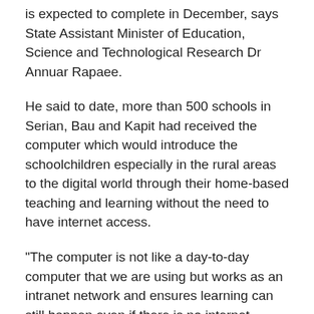is expected to complete in December, says State Assistant Minister of Education, Science and Technological Research Dr Annuar Rapaee.
He said to date, more than 500 schools in Serian, Bau and Kapit had received the computer which would introduce the schoolchildren especially in the rural areas to the digital world through their home-based teaching and learning without the need to have internet access.
"The computer is not like a day-to-day computer that we are using but works as an intranet network and ensures learning can still happen even if there is no internet connectivity.
Pupils can connect their tablets to the computer server within a 10-metre radius to access the pre-loaded learning materials or materials loaded to it by their